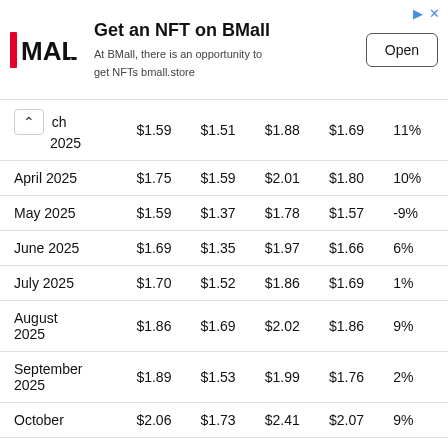[Figure (other): Advertisement banner: BMall NFT ad with logo, text 'Get an NFT on BMall / At BMall, there is an opportunity to get NFTs bmall.store' and an Open button]
| Month | Open | Low | High | Close | Change% |
| --- | --- | --- | --- | --- | --- |
| March 2025 | $1.59 | $1.51 | $1.88 | $1.69 | 11% |
| April 2025 | $1.75 | $1.59 | $2.01 | $1.80 | 10% |
| May 2025 | $1.59 | $1.37 | $1.78 | $1.57 | -9% |
| June 2025 | $1.69 | $1.35 | $1.97 | $1.66 | 6% |
| July 2025 | $1.70 | $1.52 | $1.86 | $1.69 | 1% |
| August 2025 | $1.86 | $1.69 | $2.02 | $1.86 | 9% |
| September 2025 | $1.89 | $1.53 | $1.99 | $1.76 | 2% |
| October | $2.06 | $1.73 | $2.41 | $2.07 | 9% |